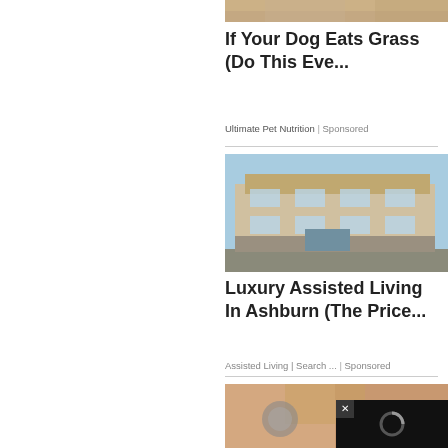[Figure (photo): Partial view of dog-related image at top, cropped]
If Your Dog Eats Grass (Do This Eve...
Ultimate Pet Nutrition | Sponsored
[Figure (photo): Luxury modern apartment/assisted living building exterior with blue sky]
Luxury Assisted Living In Ashburn (The Price...
Assisted Living | Search ... | Sponsored
[Figure (photo): Woman with headphones, partially visible; black video player overlay with loading spinner and close button]